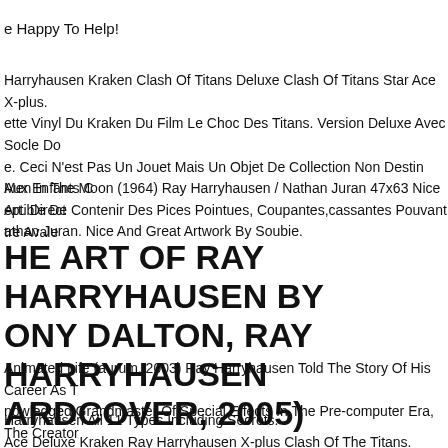e Happy To Help!
Harryhausen Kraken Clash Of Titans Deluxe Clash Of Titans Star Ace X-plus. ette Vinyl Du Kraken Du Film Le Choc Des Titans. Version Deluxe Avec Socle Do e. Ceci N'est Pas Un Jouet Mais Un Objet De Collection Non Destin Aux Enfants C eptible De Contenir Des Pices Pointues, Coupantes,cassantes Pouvant tre Avale
Men In The Moon (1964) Ray Harryhausen / Nathan Juran 47x63 Nice Art. Direct athan Juran. Nice And Great Artwork By Soubie.
HE ART OF RAY HARRYHAUSEN BY ONY DALTON, RAY HARRYHAUSEN ARDCOVER, 2005)
Animated Life (aurum, 2003) Ray Harryhausen Told The Story Of His Career As T nowledged Grandmaster Of Special Effects In The Pre-computer Era, The Creator sics Such As One Million Years Bc, Jason And The Argonauts And Clash Of Titan
Harryhausen All 11 Types Including Secrets.
Ace Deluxe Kraken Ray Harryhausen X-plus Clash Of The Titans.